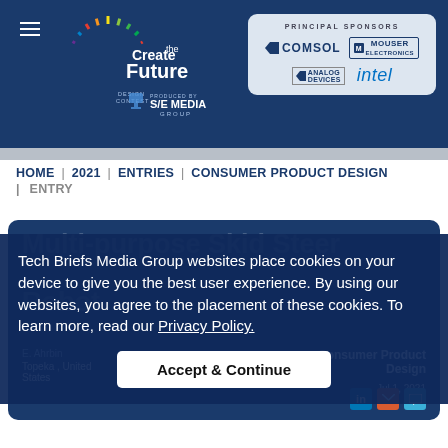Create the Future Design Contest — Principal Sponsors: COMSOL, Mouser Electronics, Analog Devices, intel
HOME | 2021 | ENTRIES | CONSUMER PRODUCT DESIGN | ENTRY
Multi-purpose Skid Steer Robot
E. Ahrbin | Topeka, United States | Votes: 0 | Views: 379 | Consumer Product Design | Jul 1, 2021
Tech Briefs Media Group websites place cookies on your device to give you the best user experience. By using our websites, you agree to the placement of these cookies. To learn more, read our Privacy Policy.
Accept & Continue